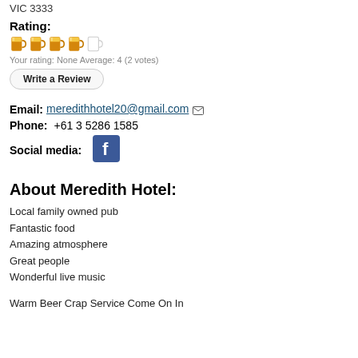VIC 3333
Rating:
[Figure (illustration): Five beer mug icons representing a rating of 4 out of 5]
Your rating: None Average: 4 (2 votes)
Write a Review
Email: meredithhotel20@gmail.com
Phone: +61 3 5286 1585
Social media:
[Figure (logo): Facebook logo icon (blue square with white f)]
About Meredith Hotel:
Local family owned pub
Fantastic food
Amazing atmosphere
Great people
Wonderful live music
Warm Beer Crap Service Come On In